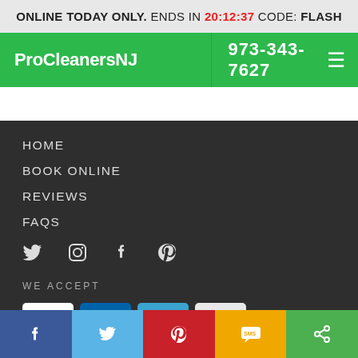ONLINE TODAY ONLY. ENDS IN 20:12:37 CODE: FLASH
ProCleanersNJ
973-343-7627
HOME
BOOK ONLINE
REVIEWS
FAQS
WE ACCEPT
[Figure (screenshot): Payment method icons: Visa, Mastercard, Amex, Discover]
Facebook, Twitter, Pinterest, SMS, Share buttons